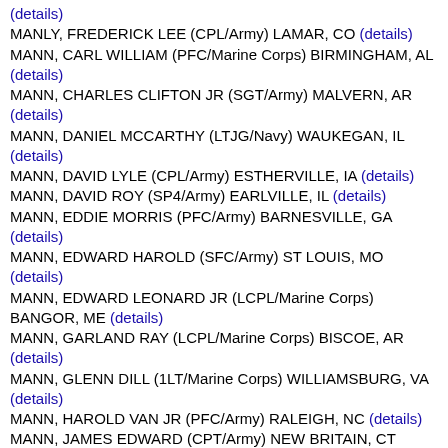(details)
MANLY, FREDERICK LEE (CPL/Army) LAMAR, CO (details)
MANN, CARL WILLIAM (PFC/Marine Corps) BIRMINGHAM, AL (details)
MANN, CHARLES CLIFTON JR (SGT/Army) MALVERN, AR (details)
MANN, DANIEL MCCARTHY (LTJG/Navy) WAUKEGAN, IL (details)
MANN, DAVID LYLE (CPL/Army) ESTHERVILLE, IA (details)
MANN, DAVID ROY (SP4/Army) EARLVILLE, IL (details)
MANN, EDDIE MORRIS (PFC/Army) BARNESVILLE, GA (details)
MANN, EDWARD HAROLD (SFC/Army) ST LOUIS, MO (details)
MANN, EDWARD LEONARD JR (LCPL/Marine Corps) BANGOR, ME (details)
MANN, GARLAND RAY (LCPL/Marine Corps) BISCOE, AR (details)
MANN, GLENN DILL (1LT/Marine Corps) WILLIAMSBURG, VA (details)
MANN, HAROLD VAN JR (PFC/Army) RALEIGH, NC (details)
MANN, JAMES EDWARD (CPT/Army) NEW BRITAIN, CT (details)
MANN, JOHN HAROLD (SP4/Army) MOUNTAIN VIEW, GA (details)